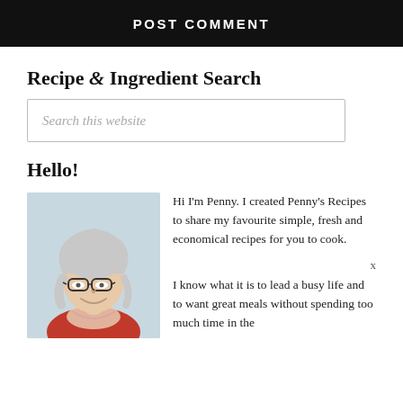POST COMMENT
Recipe & Ingredient Search
Search this website
Hello!
[Figure (photo): Portrait photo of a smiling woman with grey hair and glasses, wearing a red top and patterned scarf, against a light blue-grey background.]
Hi I'm Penny. I created Penny's Recipes to share my favourite simple, fresh and economical recipes for you to cook.

I know what it is to lead a busy life and to want great meals without spending too much time in the